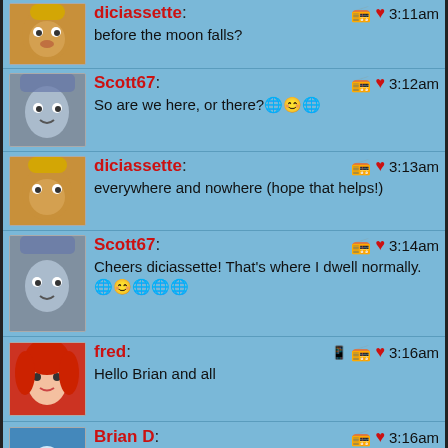diciassette: before the moon falls? 3:11am
Scott67: So are we here, or there?🌐😊🌐 3:12am
diciassette: everywhere and nowhere (hope that helps!) 3:13am
Scott67: Cheers diciassette! That's where I dwell normally. 🌐😊🌐🌐🌐 3:14am
fred: Hello Brian and all 3:16am
Brian D: Hello all. We're here now, I think. 3:16am
Scott67: G'day Fred!😊🌐 3:19am
diciassette: b'jour fred ! 3:19am
Paulo AD: 3:21am